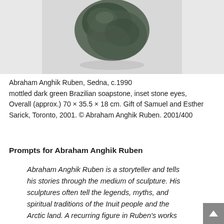[Figure (photo): Partial view of a mottled dark green soapstone sculpture (Sedna) on a light gray background, showing the upper portion of the carved figure]
Abraham Anghik Ruben, Sedna, c.1990 mottled dark green Brazilian soapstone, inset stone eyes, Overall (approx.) 70 × 35.5 × 18 cm. Gift of Samuel and Esther Sarick, Toronto, 2001. © Abraham Anghik Ruben. 2001/400
Prompts for Abraham Anghik Ruben
Abraham Anghik Ruben is a storyteller and tells his stories through the medium of sculpture. His sculptures often tell the legends, myths, and spiritual traditions of the Inuit people and the Arctic land. A recurring figure in Ruben's works is the Inuit Sea Goddess, Sedna. Look at how her